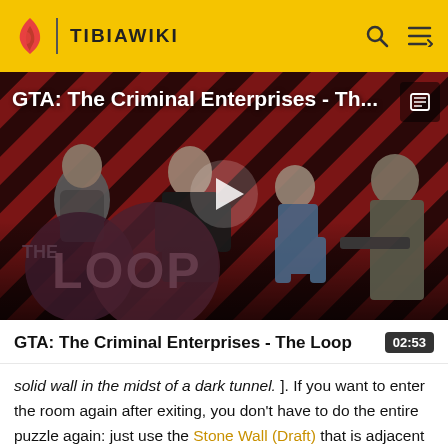TIBIAWIKI
[Figure (screenshot): Video thumbnail for 'GTA: The Criminal Enterprises - The Loop' showing game characters on a diagonal red/black striped background with 'THE LOOP' text overlay and a play button in the center]
GTA: The Criminal Enterprises - The Loop
02:53
solid wall in the midst of a dark tunnel. ]. If you want to enter the room again after exiting, you don't have to do the entire puzzle again: just use the Stone Wall (Draft) that is adjacent to the hallway.